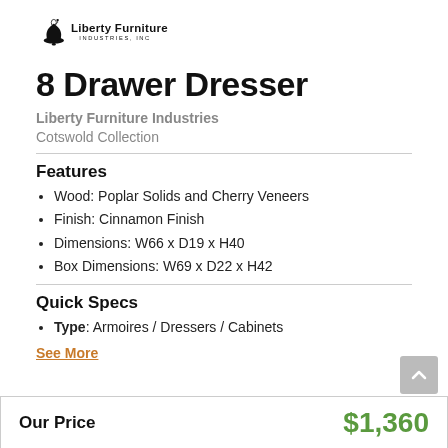[Figure (logo): Liberty Furniture Industries Inc. logo with bell icon]
8 Drawer Dresser
Liberty Furniture Industries
Cotswold Collection
Features
Wood: Poplar Solids and Cherry Veneers
Finish: Cinnamon Finish
Dimensions: W66 x D19 x H40
Box Dimensions: W69 x D22 x H42
Quick Specs
Type: Armoires / Dressers / Cabinets
See More
Our Price    $1,360